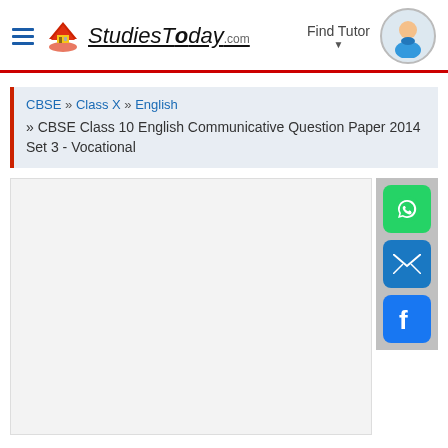StudiesToday.com — Find Tutor
CBSE » Class X » English » CBSE Class 10 English Communicative Question Paper 2014 Set 3 - Vocational
[Figure (screenshot): Empty document/content area placeholder with social sharing buttons (WhatsApp, Email, Facebook) on the right side]